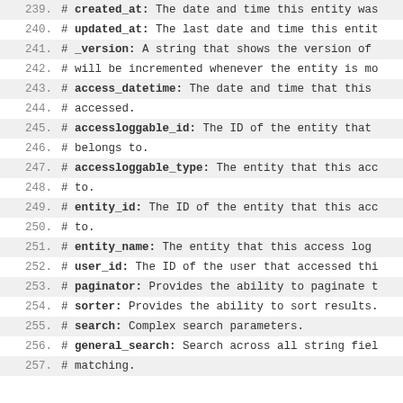239.    # created_at: The date and time this entity was
240.    # updated_at: The last date and time this entit
241.    # _version: A string that shows the version of
242.    # will be incremented whenever the entity is mo
243.    # access_datetime: The date and time that this
244.    # accessed.
245.    # accessloggable_id: The ID of the entity that
246.    # belongs to.
247.    # accessloggable_type: The entity that this acc
248.    # to.
249.    # entity_id: The ID of the entity that this acc
250.    # to.
251.    # entity_name: The entity that this access log
252.    # user_id: The ID of the user that accessed thi
253.    # paginator: Provides the ability to paginate t
254.    # sorter: Provides the ability to sort results.
255.    # search: Complex search parameters.
256.    # general_search: Search across all string fiel
257.    # matching.